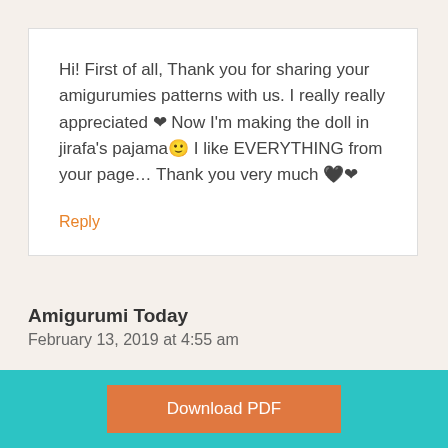Hi! First of all, Thank you for sharing your amigurumies patterns with us. I really really appreciated ❤ Now I'm making the doll in jirafa's pajama🙂 I like EVERYTHING from your page… Thank you very much 🖤❤
Reply
Amigurumi Today
February 13, 2019 at 4:55 am
Download PDF